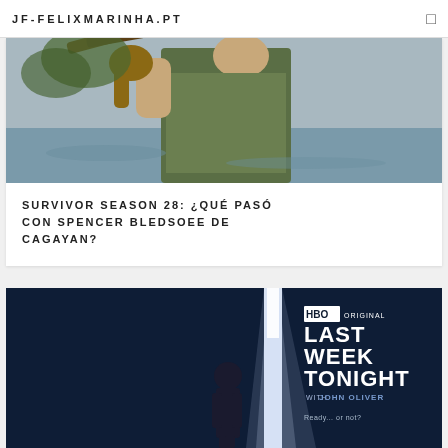JF-FELIXMARINHA.PT
[Figure (photo): Person in green t-shirt carrying an animal (monkey or similar) on their shoulder, outdoors near water]
SURVIVOR SEASON 28: ¿QUÉ PASÓ CON SPENCER BLEDSOEE DE CAGAYAN?
[Figure (photo): HBO Original Last Week Tonight with John Oliver promo image — man in suit standing in doorway with light, dark blue background, text: HBO ORIGINAL, LAST WEEK TONIGHT with JOHN OLIVER, Ready... or not?]